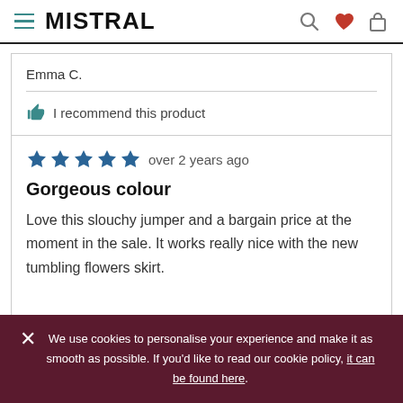MISTRAL
Emma C.
I recommend this product
over 2 years ago
Gorgeous colour
Love this slouchy jumper and a bargain price at the moment in the sale. It works really nice with the new tumbling flowers skirt.
We use cookies to personalise your experience and make it as smooth as possible. If you'd like to read our cookie policy, it can be found here.